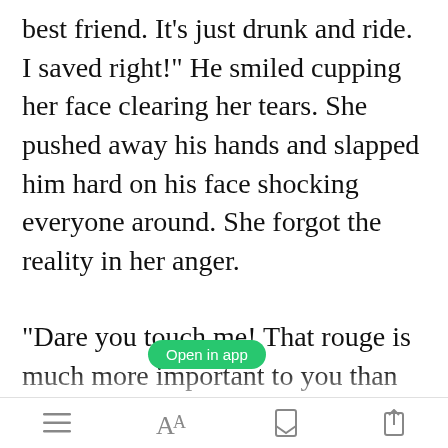best friend. It's just drunk and ride. I saved right!" He smiled cupping her face clearing her tears. She pushed away his hands and slapped him hard on his face shocking everyone around. She forgot the reality in her anger.
"Dare you touch me! That rouge is much more important to you than your wives self respect. And telling came on right time. Wonderful!
[Figure (screenshot): Green 'Open in app' button overlay]